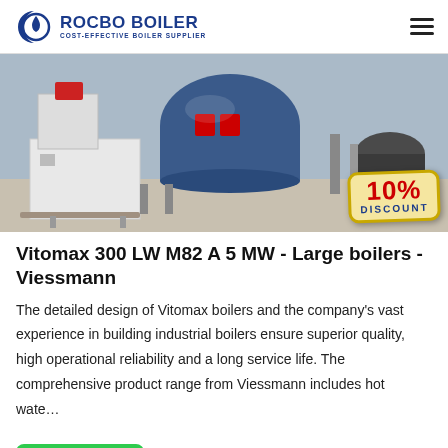[Figure (logo): Rocbo Boiler logo with crescent/flame icon and text 'ROCBO BOILER - COST-EFFECTIVE BOILER SUPPLIER' in blue]
[Figure (photo): Industrial boiler room showing large blue Vitomax boilers and equipment on a factory floor, with a 10% DISCOUNT badge overlay in bottom right]
Vitomax 300 LW M82 A 5 MW - Large boilers - Viessmann
The detailed design of Vitomax boilers and the company’s vast experience in building industrial boilers ensure superior quality, high operational reliability and a long service life. The comprehensive product range from Viessmann includes hot wate…
Get Price